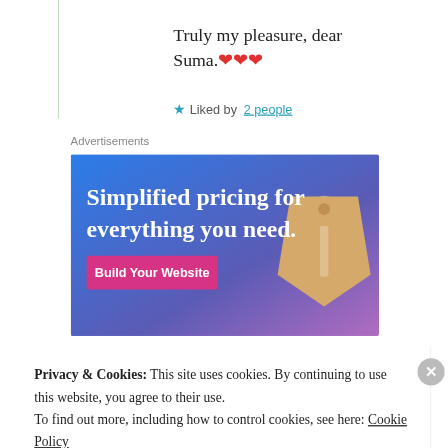Truly my pleasure, dear Suma.❤❤❤
★ Liked by 2 people
Advertisements
[Figure (illustration): WordPress.com advertisement: 'Simplified pricing for everything you need.' with a 'Build Your Website' button and a price tag image on a blue-purple gradient background.]
Privacy & Cookies: This site uses cookies. By continuing to use this website, you agree to their use. To find out more, including how to control cookies, see here: Cookie Policy
Close and accept